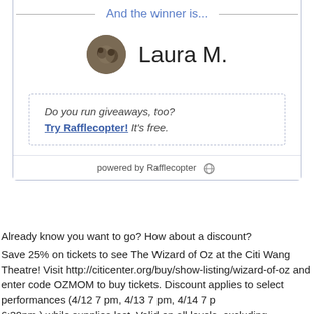And the winner is...
Laura M.
Do you run giveaways, too? Try Rafflecopter! It's free.
powered by Rafflecopter
Already know you want to go? How about a discount?
Save 25% on tickets to see The Wizard of Oz at the Citi Wang Theatre! Visit http://citicenter.org/buy/show-listing/wizard-of-oz and enter code OZMOM to buy tickets. Discount applies to select performances (4/12 7 pm, 4/13 7 pm, 4/14 7 pm, 6:30pm ) while supplies last. Valid on all levels, excluding Orchestra Pit.